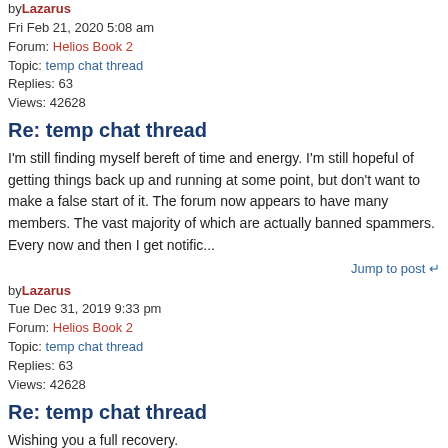by Lazarus
Fri Feb 21, 2020 5:08 am
Forum: Helios Book 2
Topic: temp chat thread
Replies: 63
Views: 42628
Re: temp chat thread
I'm still finding myself bereft of time and energy. I'm still hopeful of getting things back up and running at some point, but don't want to make a false start of it. The forum now appears to have many members. The vast majority of which are actually banned spammers. Every now and then I get notific...
Jump to post ↵
by Lazarus
Tue Dec 31, 2019 9:33 pm
Forum: Helios Book 2
Topic: temp chat thread
Replies: 63
Views: 42628
Re: temp chat thread
Wishing you a full recovery.
Jump to post ↵
by Lazarus
Tue Dec 31, 2019 11:03 am
Forum: Helios Book 2
Topic: temp chat thread
Replies: 63